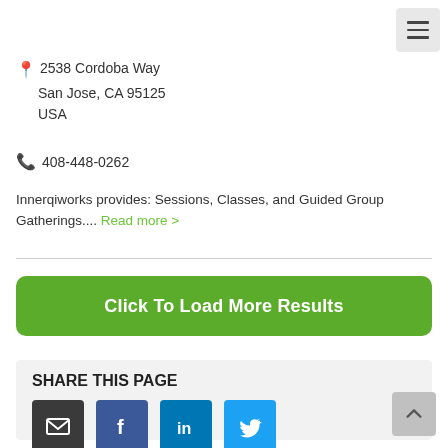[Figure (other): Hamburger menu button (three horizontal lines) in light gray rounded square, top-right corner]
2538 Cordoba Way
San Jose, CA 95125
USA
408-448-0262
Innerqiworks provides: Sessions, Classes, and Guided Group Gatherings.... Read more >
Click To Load More Results
SHARE THIS PAGE
[Figure (other): Four social sharing icons: Email (dark gray envelope), Facebook (blue f), LinkedIn (blue in), Twitter (light blue bird)]